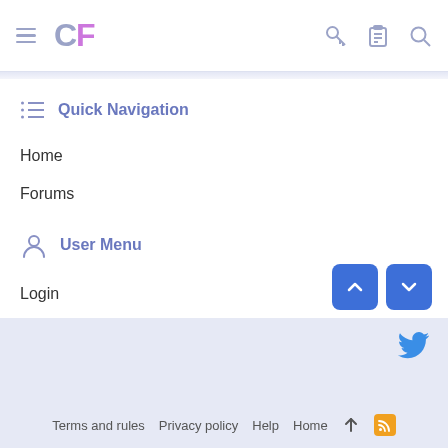CF
Quick Navigation
Home
Forums
User Menu
Login
Terms and rules  Privacy policy  Help  Home